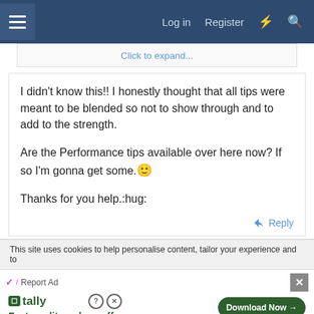Log in  Register
Click to expand...
I didn't know this!! I honestly thought that all tips were meant to be blended so not to show through and to add to the strength.

Are the Performance tips available over here now? If so I'm gonna get some. 🙂

Thanks for you help.:hug:
Reply
This site uses cookies to help personalise content, tailor your experience and to
Report Ad
[Figure (screenshot): Tally advertisement banner: tally logo with 'Fast credit card payoff' text and 'Download Now' button]